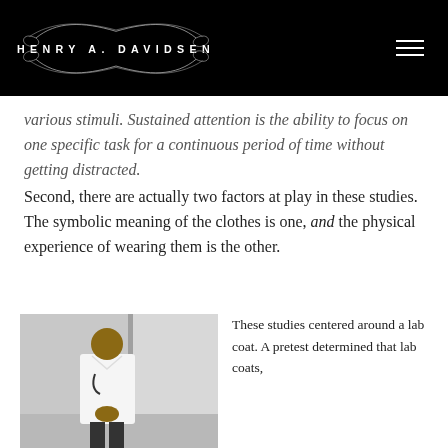HENRY A. DAVIDSEN
various stimuli. Sustained attention is the ability to focus on one specific task for a continuous period of time without getting distracted.
Second, there are actually two factors at play in these studies. The symbolic meaning of the clothes is one, and the physical experience of wearing them is the other.
[Figure (photo): A man in a white lab coat with a stethoscope standing in a hallway]
These studies centered around a lab coat. A pretest determined that lab coats,